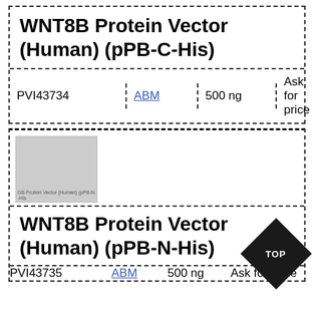WNT8B Protein Vector (Human) (pPB-C-His)
| ID | Brand | Qty | Price |
| --- | --- | --- | --- |
| PVI43734 | ABM | 500 ng | Ask for price |
[Figure (photo): Product image placeholder for WNT8B Protein Vector (Human) (pPB-N-His)]
WNT8B Protein Vector (Human) (pPB-N-His)
| ID | Brand | Qty | Price |
| --- | --- | --- | --- |
| PVI43735 | ABM | 500 ng | Ask for price |